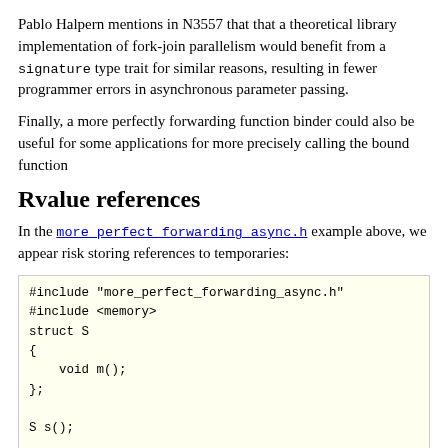Pablo Halpern mentions in N3557 that that a theoretical library implementation of fork-join parallelism would benefit from a signature type trait for similar reasons, resulting in fewer programmer errors in asynchronous parameter passing.
Finally, a more perfectly forwarding function binder could also be useful for some applications for more precisely calling the bound function
Rvalue references
In the more_perfect_forwarding_async.h example above, we appear risk storing references to temporaries:
[Figure (screenshot): Code block showing C++ source code with #include directives, struct S definition with void m(), S s() declaration, void f() function, and more_perfect_async call with comment '// s() will no longer ex']